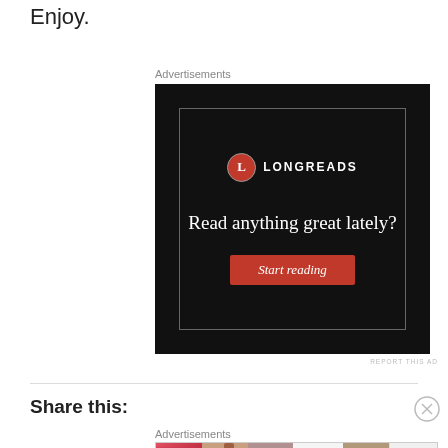Enjoy.
Advertisements
[Figure (screenshot): Longreads advertisement: dark background with Longreads logo (red circle with L), text 'Read anything great lately?' and a red 'Start reading' button]
REPORT THIS AD
Share this:
Advertisements
[Figure (screenshot): Ulta Beauty advertisement banner showing beauty/makeup product images with women's faces and 'SHOP NOW' text]